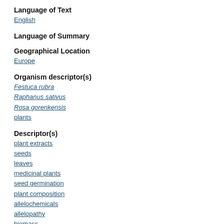Language of Text
English
Language of Summary
Geographical Location
Europe
Organism descriptor(s)
Festuca rubra
Raphanus sativus
Rosa gorenkensis
plants
Descriptor(s)
plant extracts
seeds
leaves
medicinal plants
seed germination
plant composition
allelochemicals
allelopathy
biomass
electrolytes